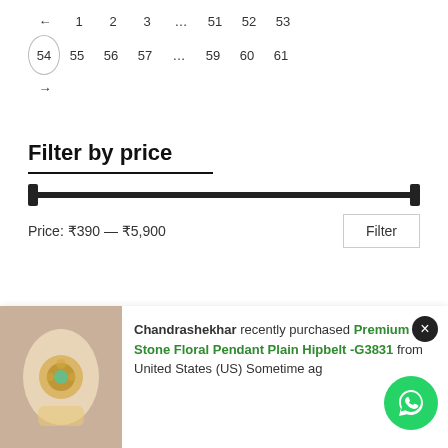← 1 2 3 … 51 52 53
54 55 56 57 … 59 60 61
→
Filter by price
Price: ₹390 — ₹5,900
Product categories
Chandrashekhar recently purchased Premium AD Stone Floral Pendant Plain Hipbelt -G3831 from United States (US) Sometime ago